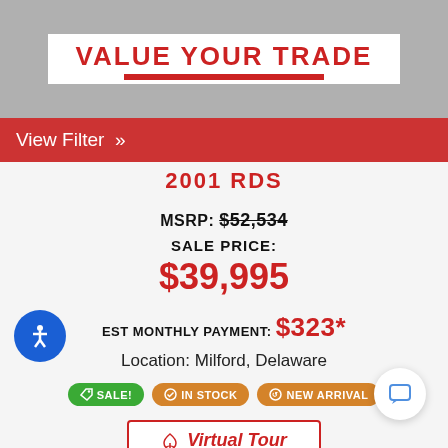[Figure (illustration): Top banner with gray background showing VALUE YOUR TRADE text on white background with red underbar]
View Filter »
2001 RDS
MSRP: $52,534
SALE PRICE:
$39,995
EST MONTHLY PAYMENT: $323*
Location: Milford, Delaware
SALE! IN STOCK NEW ARRIVAL
Virtual Tour